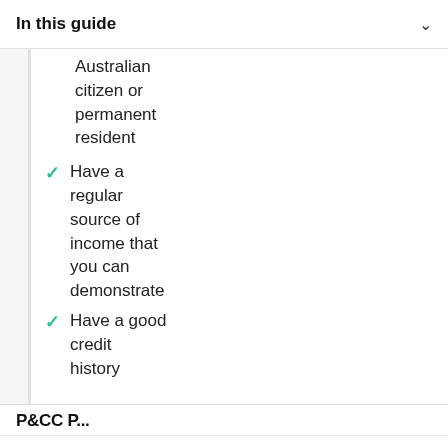In this guide
Australian citizen or permanent resident
Have a regular source of income that you can demonstrate
Have a good credit history
Looks like you're in the US. Go to our US site to compare relevant products for your country.
Go to Finder US
No, stay on this page